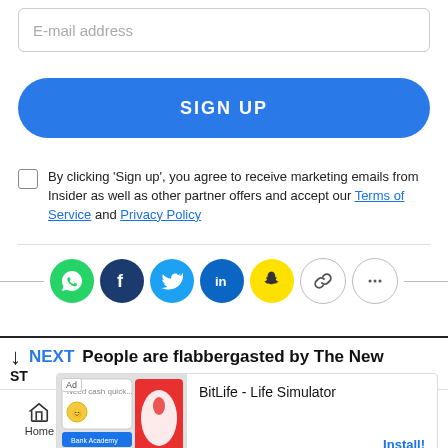[Figure (screenshot): Email input field with placeholder text 'E-mail address']
[Figure (screenshot): Blue rounded 'SIGN UP' button]
By clicking 'Sign up', you agree to receive marketing emails from Insider as well as other partner offers and accept our Terms of Service and Privacy Policy
[Figure (infographic): Social sharing icons row: WhatsApp (green), Facebook (dark blue), Twitter (blue), LinkedIn (blue), Snapchat (yellow), link (white/gray), more (white/gray)]
NEXT  People are flabbergasted by The New
[Figure (screenshot): Ad overlay for BitLife - Life Simulator with Install button]
[Figure (screenshot): Bottom navigation bar with Home, Notifications, Newsletters, Next, Share icons]